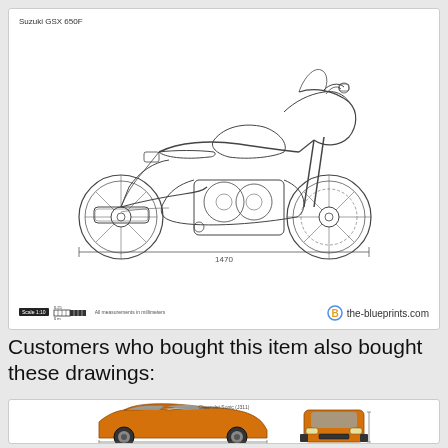[Figure (engineering-diagram): Technical blueprint/line drawing of a Suzuki GSX 650F motorcycle shown in side profile view. Black outline drawing on white background with measurement dimension line showing 1470mm width. Scale bar at bottom left shows Scale 1:10 with ruler graphic. Text reads 'All measurements in millimeters'. the-blueprints.com logo at bottom right.]
Customers who bought this item also bought these drawings:
[Figure (engineering-diagram): Partial view of a Chevrolet Sonic (J311) blueprint showing the car rendered in orange/amber color from side profile view and front view. Label reads 'Chevrolet Sonic (J311)' at the top.]